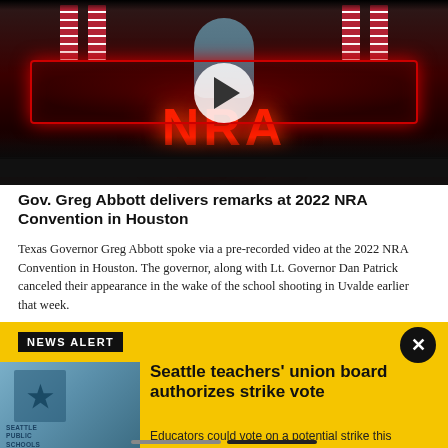[Figure (screenshot): Video thumbnail showing Gov. Greg Abbott at the 2022 NRA Convention stage with red NRA signage, American flags, and a play button overlay]
Gov. Greg Abbott delivers remarks at 2022 NRA Convention in Houston
Texas Governor Greg Abbott spoke via a pre-recorded video at the 2022 NRA Convention in Houston. The governor, along with Lt. Governor Dan Patrick canceled their appearance in the wake of the school shooting in Uvalde earlier that week.
NEWS ALERT
[Figure (photo): Seattle Public Schools building sign photo]
Seattle teachers' union board authorizes strike vote
Educators could vote on a potential strike this weekend